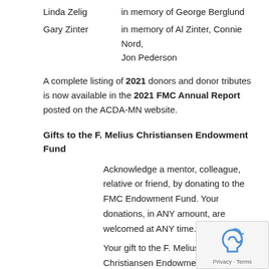Linda Zelig — in memory of George Berglund
Gary Zinter — in memory of Al Zinter, Connie Nord, Jon Pederson
A complete listing of 2021 donors and donor tributes is now available in the 2021 FMC Annual Report posted on the ACDA-MN website.
Gifts to the F. Melius Christiansen Endowment Fund
Acknowledge a mentor, colleague, relative or friend, by donating to the FMC Endowment Fund. Your donations, in ANY amount, are welcomed at ANY time.
Your gift to the F. Melius Christiansen Endowment